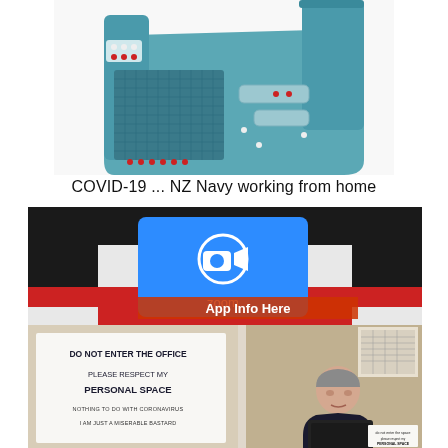[Figure (photo): Battleship board game (teal/blue plastic) photographed from above, showing the game grid with red and white pegs placed on it]
COVID-19 ... NZ Navy working from home
[Figure (screenshot): Zoom app logo on a blue square overlaid on a black and red striped background, with text 'App Info Here' in red/orange]
[Figure (photo): Office reception desk with a handwritten sign reading: DO NOT ENTER THE OFFICE / PLEASE RESPECT MY PERSONAL SPACE / NOTHING TO DO WITH CORONAVIRUS / I AM JUST A MISERABLE BASTARD. A man is seated at the right behind an Acer monitor.]